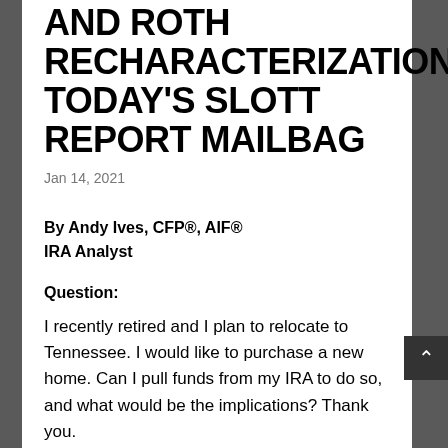AND ROTH RECHARACTERIZATIONS: TODAY'S SLOTT REPORT MAILBAG
Jan 14, 2021
By Andy Ives, CFP®, AIF®
IRA Analyst
Question:
I recently retired and I plan to relocate to Tennessee. I would like to purchase a new home. Can I pull funds from my IRA to do so, and what would be the implications? Thank you.